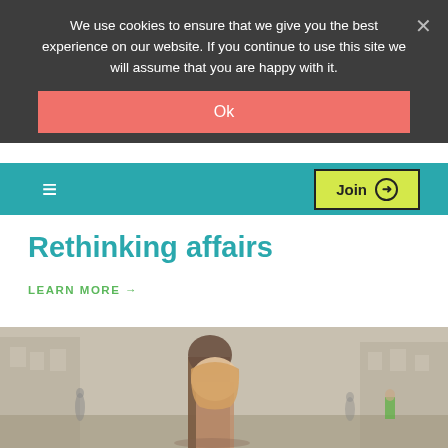We use cookies to ensure that we give you the best experience on our website. If you continue to use this site we will assume that you are happy with it.
Ok
[Figure (screenshot): Navigation bar with hamburger menu icon and a yellow 'Join →' button on teal background]
Rethinking affairs
LEARN MORE →
[Figure (photo): Photo of a couple embracing on a blurred European street with buildings in background]